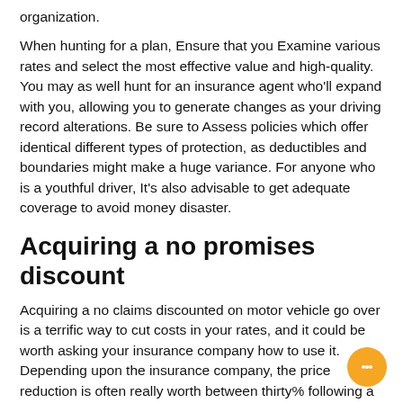organization.
When hunting for a plan, Ensure that you Examine various rates and select the most effective value and high-quality. You may as well hunt for an insurance agent who'll expand with you, allowing you to generate changes as your driving record alterations. Be sure to Assess policies which offer identical different types of protection, as deductibles and boundaries might make a huge variance. For anyone who is a youthful driver, It's also advisable to get adequate coverage to avoid money disaster.
Acquiring a no promises discount
Acquiring a no claims discounted on motor vehicle go over is a terrific way to cut costs in your rates, and it could be worth asking your insurance company how to use it. Depending upon the insurance company, the price reduction is often really worth between thirty% following a 12 months to now 65% immediately after five years. Do not forget that When